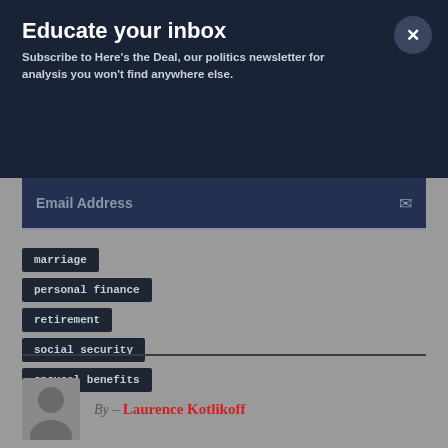Educate your inbox
Subscribe to Here's the Deal, our politics newsletter for analysis you won't find anywhere else.
Email Address
marriage
personal finance
retirement
social security
spousal benefits
By – Laurence Kotlikoff